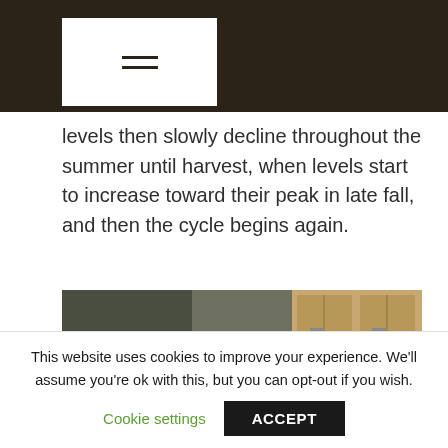≡
levels then slowly decline throughout the summer until harvest, when levels start to increase toward their peak in late fall, and then the cycle begins again.
[Figure (photo): A woman with short dark hair leaning over and looking through a microscope in a laboratory setting. Cabinets and equipment visible in background.]
This website uses cookies to improve your experience. We'll assume you're ok with this, but you can opt-out if you wish.
Cookie settings   ACCEPT